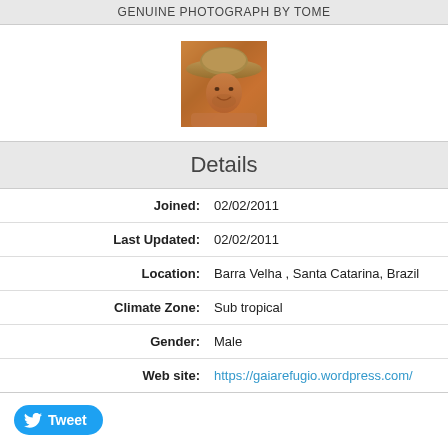GENUINE PHOTOGRAPH BY TOME
[Figure (photo): Profile photo of a man wearing a wide-brimmed hat, smiling, warm outdoor lighting]
Details
| Joined: | 02/02/2011 |
| Last Updated: | 02/02/2011 |
| Location: | Barra Velha , Santa Catarina, Brazil |
| Climate Zone: | Sub tropical |
| Gender: | Male |
| Web site: | https://gaiarefugio.wordpress.com/ |
[Figure (other): Twitter Tweet button (blue rounded button with bird icon and 'Tweet' text)]
[Figure (other): Facebook like counter box showing '0']